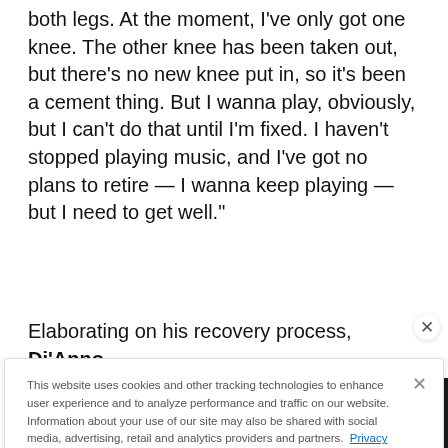both legs. At the moment, I've only got one knee. The other knee has been taken out, but there's no new knee put in, so it's been a cement thing. But I wanna play, obviously, but I can't do that until I'm fixed. I haven't stopped playing music, and I've got no plans to retire — I wanna keep playing — but I need to get well."
Elaborating on his recovery process, Di'Anno
This website uses cookies and other tracking technologies to enhance user experience and to analyze performance and traffic on our website. Information about your use of our site may also be shared with social media, advertising, retail and analytics providers and partners. Privacy Policy
[Figure (photo): Advertisement banner for Lamb of God concert - September 14, Chesapeake Employers Insurance Arena, dark background with golden decorative elements and band logo]